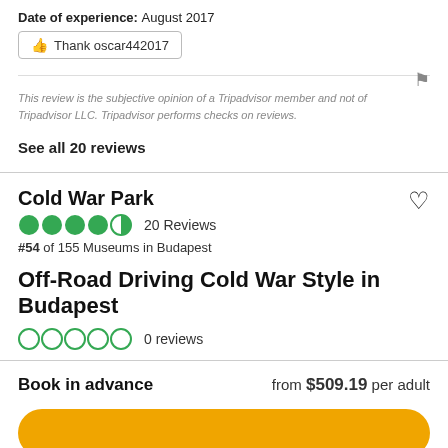Date of experience: August 2017
Thank oscar442017
This review is the subjective opinion of a Tripadvisor member and not of Tripadvisor LLC. Tripadvisor performs checks on reviews.
See all 20 reviews
Cold War Park
4.5 stars  20 Reviews
#54 of 155 Museums in Budapest
Off-Road Driving Cold War Style in Budapest
0 stars  0 reviews
Book in advance   from $509.19 per adult